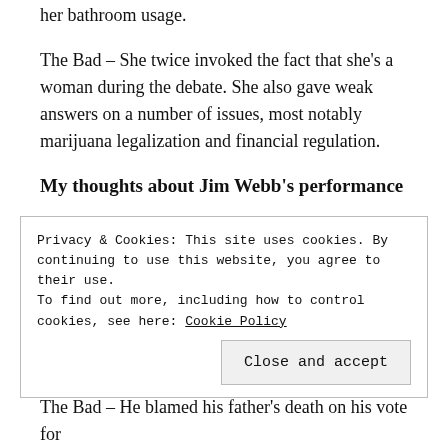her bathroom usage.
The Bad – She twice invoked the fact that she's a woman during the debate. She also gave weak answers on a number of issues, most notably marijuana legalization and financial regulation.
My thoughts about Jim Webb's performance
The Good – He used his wife's story on immigration very well.
The Bad – He used the NRA's talking points on guns.
Privacy & Cookies: This site uses cookies. By continuing to use this website, you agree to their use.
To find out more, including how to control cookies, see here: Cookie Policy
Close and accept
The Bad – He blamed his father's death on his vote for